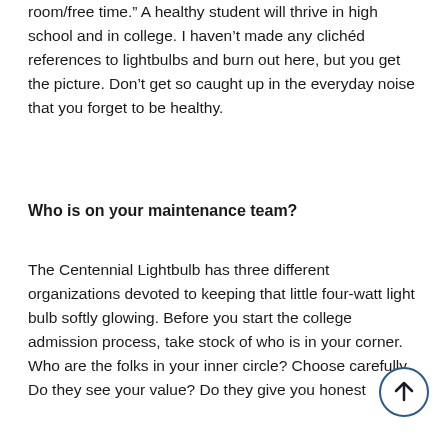room/free time.”  A healthy student will thrive in high school and in college. I haven’t made any clichéd references to lightbulbs and burn out here, but you get the picture. Don’t get so caught up in the everyday noise that you forget to be healthy.
Who is on your maintenance team?
The Centennial Lightbulb has three different organizations devoted to keeping that little four-watt light bulb softly glowing.  Before you start the college admission process, take stock of who is in your corner.  Who are the folks in your inner circle?  Choose carefully.  Do they see your value? Do they give you honest